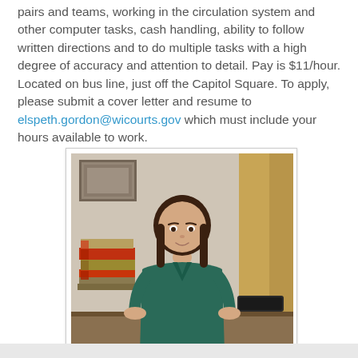pairs and teams, working in the circulation system and other computer tasks, cash handling, ability to follow written directions and to do multiple tasks with a high degree of accuracy and attention to detail. Pay is $11/hour. Located on bus line, just off the Capitol Square. To apply, please submit a cover letter and resume to elspeth.gordon@wicourts.gov which must include your hours available to work.
[Figure (photo): Photo of a young woman with brown hair sitting at a desk with stacks of law books to her left and a keyboard to her right. She is wearing a teal/dark green cardigan. The background shows a wood-framed door and a painting on the wall.]